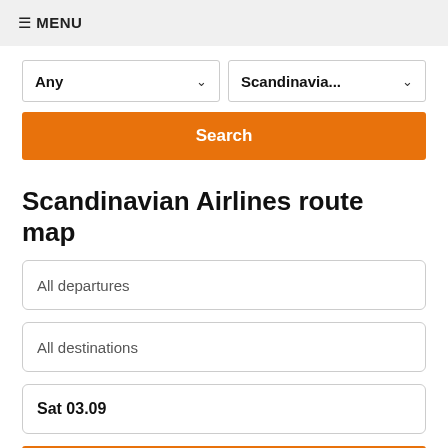≡ MENU
Any ∨   Scandinavia... ∨
Search
Scandinavian Airlines route map
All departures
All destinations
Sat 03.09
Search